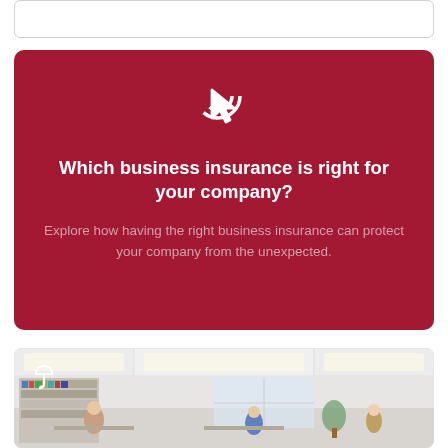[Figure (other): White rounded rectangle card placeholder at top]
[Figure (infographic): Dark red rounded card with click/cursor icon, bold white heading 'Which business insurance is right for your company?' and light pink subtext about exploring business insurance protection]
Which business insurance is right for your company?
Explore how having the right business insurance can protect your company from the unexpected.
[Figure (photo): Office interior photo showing workers at desks in a bright open-plan office, with an umbrella icon overlay in the top-left corner]